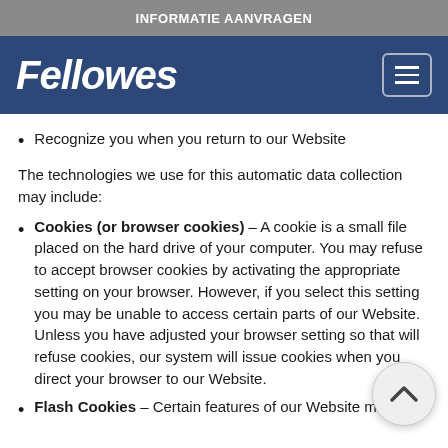INFORMATIE AANVRAGEN
[Figure (logo): Fellowes logo in white italic bold text on dark blue navigation bar with hamburger menu icon]
Recognize you when you return to our Website
The technologies we use for this automatic data collection may include:
Cookies (or browser cookies) – A cookie is a small file placed on the hard drive of your computer. You may refuse to accept browser cookies by activating the appropriate setting on your browser. However, if you select this setting you may be unable to access certain parts of our Website. Unless you have adjusted your browser setting so that will refuse cookies, our system will issue cookies when you direct your browser to our Website.
Flash Cookies – Certain features of our Website may